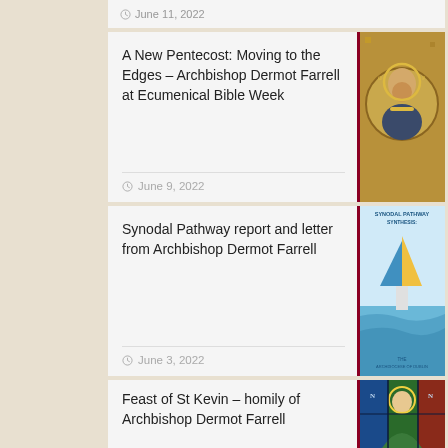June 11, 2022
A New Pentecost: Moving to the Edges – Archbishop Dermot Farrell at Ecumenical Bible Week
June 9, 2022
[Figure (photo): Byzantine mosaic style icon of a saint or apostle]
Synodal Pathway report and letter from Archbishop Dermot Farrell
June 3, 2022
[Figure (logo): Synodal Pathway Synthesis logo with sailboat and water]
Feast of St Kevin – homily of Archbishop Dermot Farrell
June 3, 2022
[Figure (photo): Stained glass window depicting St Kevin]
Building Hope parish gathering resources
[Figure (photo): People at a parish gathering event]